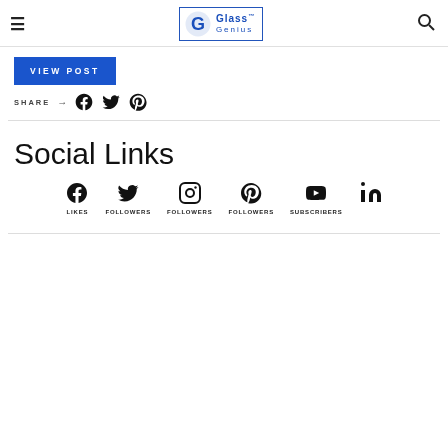Glass Genius (logo with hamburger menu and search icon)
VIEW POST
SHARE → (Facebook, Twitter, Pinterest icons)
Social Links
Facebook LIKES | Twitter FOLLOWERS | Instagram FOLLOWERS | Pinterest FOLLOWERS | YouTube SUBSCRIBERS | LinkedIn